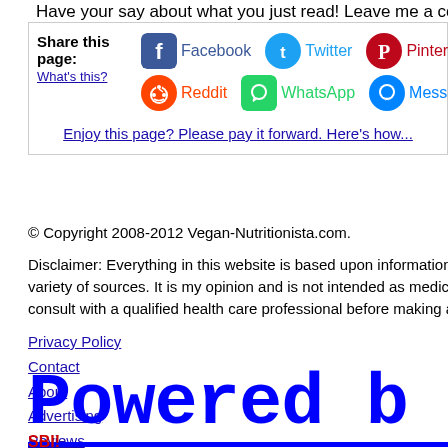Have your say about what you just read! Leave me a comment in the box b
Share this page:
What's this?
Facebook | Twitter | Pinterest | Reddit | WhatsApp | Messenger
Enjoy this page? Please pay it forward. Here's how...
© Copyright 2008-2012 Vegan-Nutritionista.com.
Disclaimer: Everything in this website is based upon information collected b variety of sources. It is my opinion and is not intended as medical advice. It consult with a qualified health care professional before making a diet chang
Privacy Policy
Contact
About
Advertising
Reviews
[Figure (logo): Powered by (SBI logo) in large bold blue pixel/block font with blue underline]
SBI!